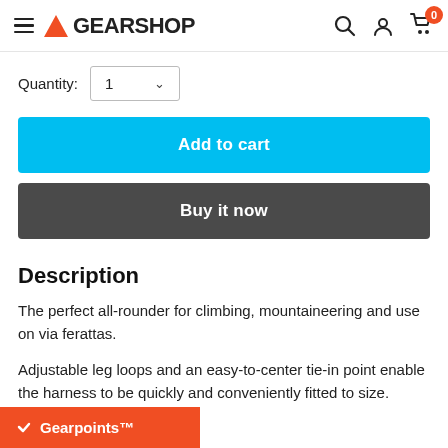GEARSHOP
Quantity: 1
Add to cart
Buy it now
Description
The perfect all-rounder for climbing, mountaineering and use on via ferattas.
Adjustable leg loops and an easy-to-center tie-in point enable the harness to be quickly and conveniently fitted to size.
Gearpoints™